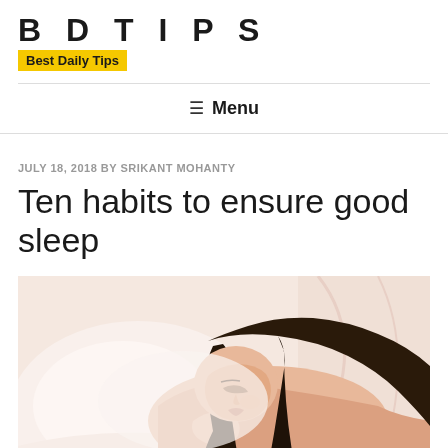BDTIPS — Best Daily Tips
≡ Menu
JULY 18, 2018 BY SRIKANT MOHANTY
Ten habits to ensure good sleep
[Figure (photo): A woman sleeping peacefully on a bed with white/pink bedding, photographed from above at an angle, her dark hair spread out, resting on a pillow.]